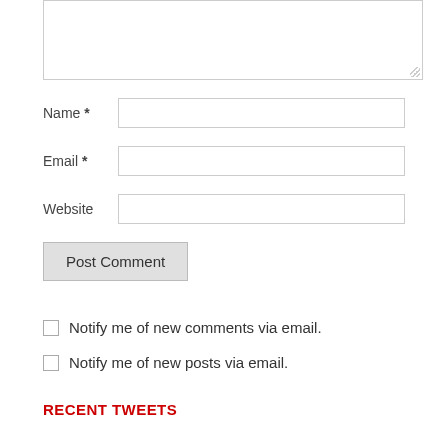[Figure (screenshot): Comment form textarea (top portion, partially visible)]
Name *
Email *
Website
Post Comment
Notify me of new comments via email.
Notify me of new posts via email.
RECENT TWEETS